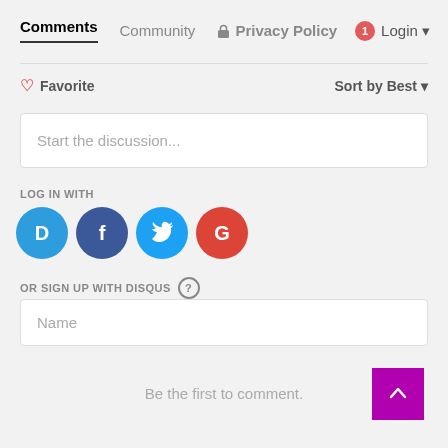Comments  Community  🔒 Privacy Policy  1 Login
♡ Favorite  Sort by Best
Start the discussion...
LOG IN WITH
[Figure (other): Social login icons: Disqus (D), Facebook (f), Twitter bird, Google (G)]
OR SIGN UP WITH DISQUS ?
Name
Be the first to comment.